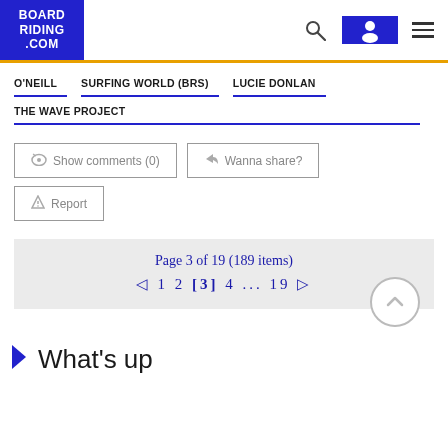BOARD RIDING .COM
O'NEILL
SURFING WORLD (BRS)
LUCIE DONLAN
THE WAVE PROJECT
Show comments (0)
Wanna share?
Report
Page 3 of 19 (189 items)
< 1 2 [3] 4 ... 19 >
What's up